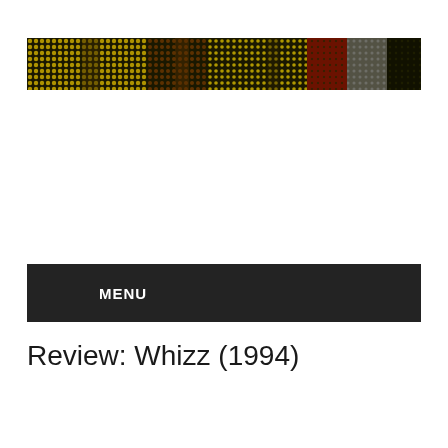[Figure (illustration): Decorative halftone banner image with yellow, brown, red, and dark tones arranged in a horizontal strip, showing a stylized pattern of dots and shapes.]
MENU
Review: Whizz (1994)